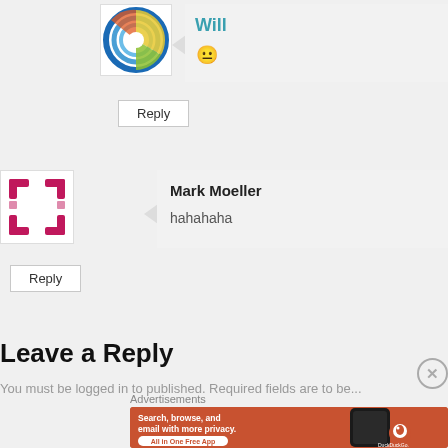[Figure (illustration): Circular logo with colorful concentric arcs (blue, yellow, green, red/orange) on white background — avatar for user Will]
Will
😐
Reply
[Figure (logo): Pink/magenta dashed square bracket-like logo — avatar for Mark Moeller]
Mark Moeller
hahahaha
Reply
Leave a Reply
You must be logged in to published. Required fields are to be...
Advertisements
[Figure (screenshot): DuckDuckGo advertisement banner: orange background with white text 'Search, browse, and email with more privacy. All in One Free App' and DuckDuckGo logo on a phone mockup]